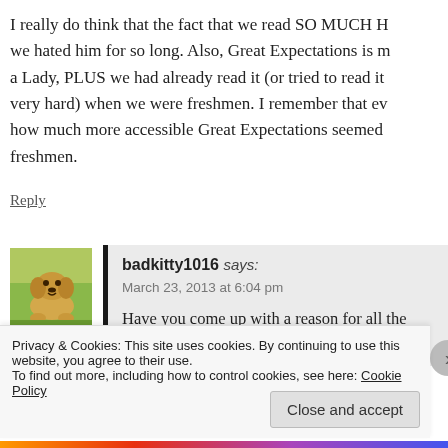I really do think that the fact that we read SO MUCH H we hated him for so long. Also, Great Expectations is m a Lady, PLUS we had already read it (or tried to read it very hard) when we were freshmen. I remember that ev how much more accessible Great Expectations seemed freshmen.
Reply
[Figure (photo): Avatar image of a golden retriever puppy sitting on grass]
badkitty1016 says: March 23, 2013 at 6:04 pm
Have you come up with a reason for all the that he's a master of the English language a
Privacy & Cookies: This site uses cookies. By continuing to use this website, you agree to their use.
To find out more, including how to control cookies, see here: Cookie Policy
Close and accept